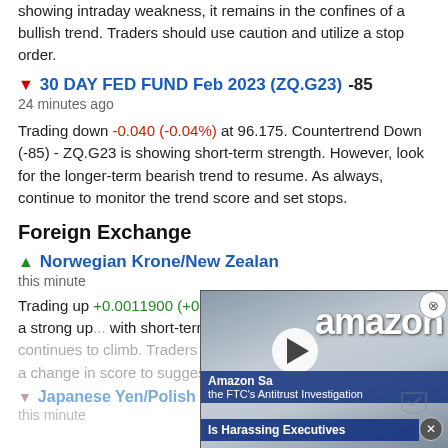showing intraday weakness, it remains in the confines of a bullish trend. Traders should use caution and utilize a stop order.
▼ 30 DAY FED FUND Feb 2023 (ZQ.G23) -85
24 minutes ago
Trading down -0.040 (-0.04%) at 96.175. Countertrend Down (-85) - ZQ.G23 is showing short-term strength. However, look for the longer-term bearish trend to resume. As always, continue to monitor the trend score and set stops.
Foreign Exchange
▲ Norwegian Krone/New Zealand...
this minute
Trading up +0.0011900 (+0.73%) a... (+100) - NOKNZD is in a strong up... with short-term, intermediate, and... NOKNZD continues to climb. Traders should protect gains and look for a change in score to suggest a slow down in momentum.
[Figure (screenshot): Amazon video ad overlay showing an Amazon truck with text 'Amazon Sa...' and 'the FTC's Antitrust Investigation Is Harassing Executives', with a play button and close button]
▼ Japanese Yen/Polish New Zloty (JPYPLN) -55
this minute